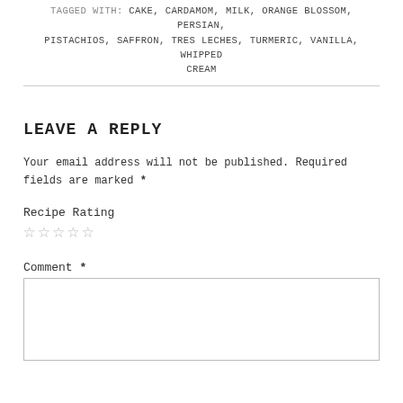TAGGED WITH: CAKE, CARDAMOM, MILK, ORANGE BLOSSOM, PERSIAN, PISTACHIOS, SAFFRON, TRES LECHES, TURMERIC, VANILLA, WHIPPED CREAM
LEAVE A REPLY
Your email address will not be published. Required fields are marked *
Recipe Rating
☆☆☆☆☆
Comment *